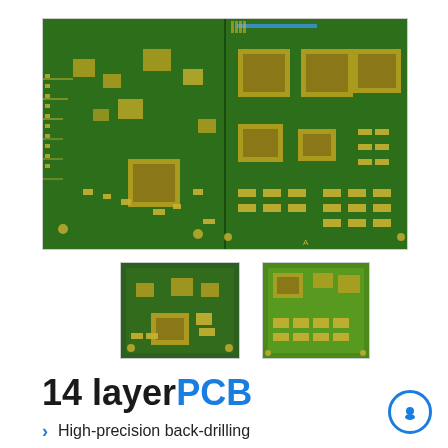[Figure (photo): Top view of a green 14-layer PCB circuit board showing both sides with various ICs, SMD components, gold pads and traces]
[Figure (photo): Smaller thumbnail photo of the same 14-layer PCB board front view]
[Figure (photo): Smaller thumbnail photo of the 14-layer PCB board back/bottom view]
14 layerPCB
High-precision back-drilling